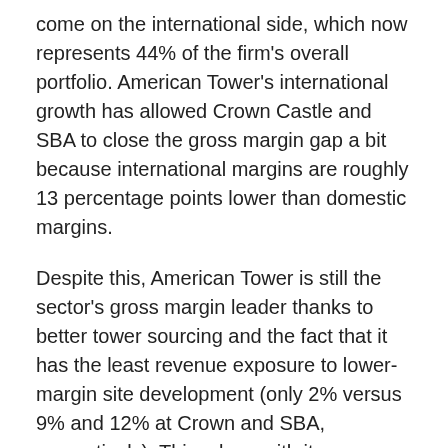come on the international side, which now represents 44% of the firm's overall portfolio. American Tower's international growth has allowed Crown Castle and SBA to close the gross margin gap a bit because international margins are roughly 13 percentage points lower than domestic margins.
Despite this, American Tower is still the sector's gross margin leader thanks to better tower sourcing and the fact that it has the least revenue exposure to lower-margin site development (only 2% versus 9% and 12% at Crown and SBA, respectively). This, along with its international exposure, has helped American Tower generate the highest returns on invested capital in the sector. Although international gross margins are lower, returns on invested capital are actually higher because of better pass-through of expenses and lower building costs. The REIT conversion